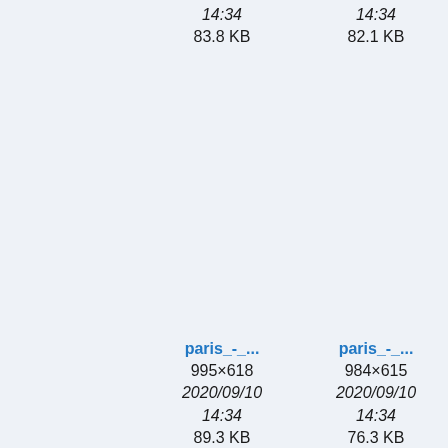14:34
83.8 KB
14:34
82.1 KB
paris_-_...
995×618
2020/09/10
14:34
89.3 KB
paris_-_...
984×615
2020/09/10
14:34
76.3 KB
p
2
proc.png
512×403
2021/05/04
putty_c...
456×437
2020/09/10
p
2